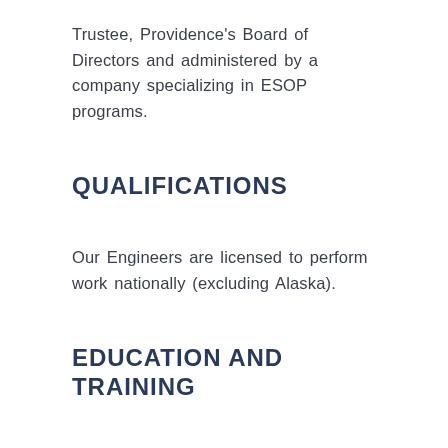Trustee, Providence's Board of Directors and administered by a company specializing in ESOP programs.
QUALIFICATIONS
Our Engineers are licensed to perform work nationally (excluding Alaska).
EDUCATION AND TRAINING
Long before industry standards required Continuing Education Units (CEU's) to maintain licensure, Providence Engineering put our Project Engineers and Engineers in Training at the forefront of emerging